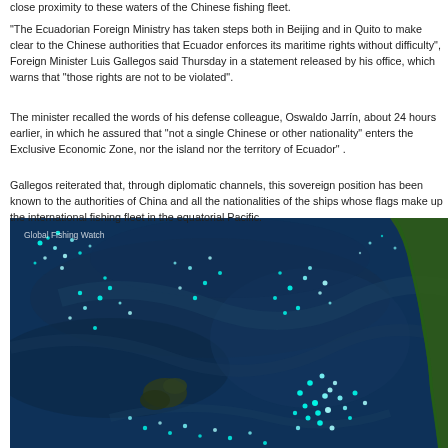close proximity to these waters of the Chinese fishing fleet.
"The Ecuadorian Foreign Ministry has taken steps both in Beijing and in Quito to make clear to the Chinese authorities that Ecuador enforces its maritime rights without difficulty", Foreign Minister Luis Gallegos said Thursday in a statement released by his office, which warns that "those rights are not to be violated".
The minister recalled the words of his defense colleague, Oswaldo Jarrín, about 24 hours earlier, in which he assured that "not a single Chinese or other nationality" enters the Exclusive Economic Zone, nor the island nor the territory of Ecuador" .
Gallegos reiterated that, through diplomatic channels, this sovereign position has been known to the authorities of China and all the nationalities of the ships whose flags make up the international fishing fleet in the equatorial Pacific.
[Figure (map): Satellite/fishing vessel tracking map showing the equatorial Pacific Ocean near Ecuador and the Galapagos Islands. Bright cyan/white dots representing fishing vessels are scattered across the dark blue ocean. The South American coastline with green land is visible on the right. A watermark reading 'Global Fishing Watch' appears in the upper left of the map.]